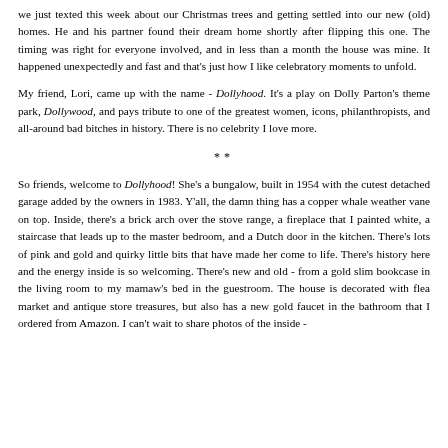we just texted this week about our Christmas trees and getting settled into our new (old) homes. He and his partner found their dream home shortly after flipping this one. The timing was right for everyone involved, and in less than a month the house was mine. It happened unexpectedly and fast and that's just how I like celebratory moments to unfold.
My friend, Lori, came up with the name - Dollyhood. It's a play on Dolly Parton's theme park, Dollywood, and pays tribute to one of the greatest women, icons, philanthropists, and all-around bad bitches in history. There is no celebrity I love more.
**
So friends, welcome to Dollyhood! She's a bungalow, built in 1954 with the cutest detached garage added by the owners in 1983. Y'all, the damn thing has a copper whale weather vane on top. Inside, there's a brick arch over the stove range, a fireplace that I painted white, a staircase that leads up to the master bedroom, and a Dutch door in the kitchen. There's lots of pink and gold and quirky little bits that have made her come to life. There's history here and the energy inside is so welcoming. There's new and old - from a gold slim bookcase in the living room to my mamaw's bed in the guestroom. The house is decorated with flea market and antique store treasures, but also has a new gold faucet in the bathroom that I ordered from Amazon. I can't wait to share photos of the inside -